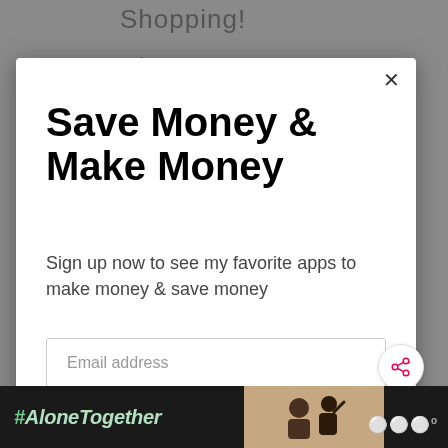Shopping!
Dian
Save Money & Make Money
Sign up now to see my favorite apps to make money & save money
Email address
Get It Now
WHAT'S NEXT → Home Depot Penny Items...
#AloneTogether